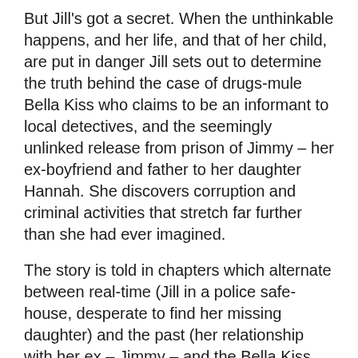But Jill's got a secret. When the unthinkable happens, and her life, and that of her child, are put in danger Jill sets out to determine the truth behind the case of drugs-mule Bella Kiss who claims to be an informant to local detectives, and the seemingly unlinked release from prison of Jimmy – her ex-boyfriend and father to her daughter Hannah. She discovers corruption and criminal activities that stretch far further than she had ever imagined.
The story is told in chapters which alternate between real-time (Jill in a police safe-house, desperate to find her missing daughter) and the past (her relationship with her ex – Jimmy – and the Bella Kiss case) that has led to her current predicament. It's an interesting structure, and one that keeps you trying to piece together the clues and solve the puzzle along with Jill. It starts at a steady pace which rises significantly in the second